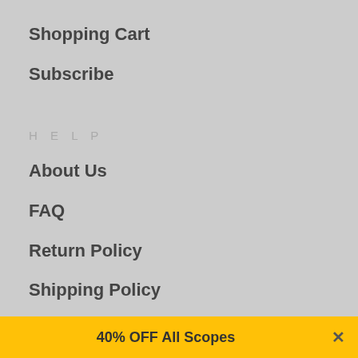Shopping Cart
Subscribe
HELP
About Us
FAQ
Return Policy
Shipping Policy
Contact
40% OFF All Scopes